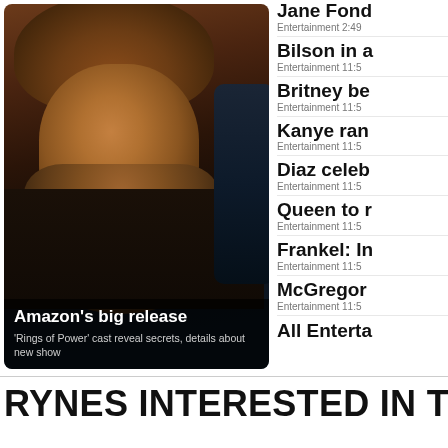[Figure (photo): A bearded dwarf-like character from Amazon's Rings of Power show, wearing dark fur/leather clothing, shown from chest up against a dark background]
Amazon's big release
'Rings of Power' cast reveal secrets, details about new show
Jane Fond... Entertainment 2:49
Bilson in a Entertainment 11:5
Britney be Entertainment 11:5
Kanye ran Entertainment 11:5
Diaz celeb Entertainment 11:5
Queen to r Entertainment 11:5
Frankel: In Entertainment 11:5
McGregor Entertainment 11:5
All Enterta
RYNES INTERESTED IN TV RETU...